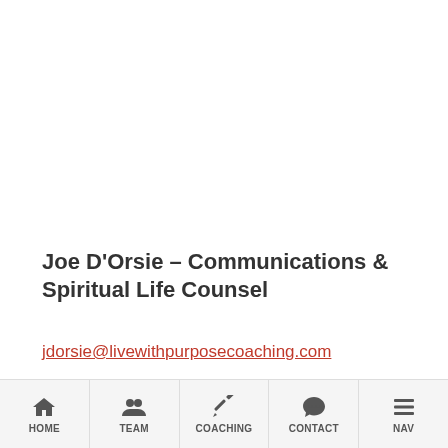Joe D'Orsie – Communications & Spiritual Life Counsel
jdorsie@livewithpurposecoaching.com
Posted in Book Reviews, Sales / Marketing and tagged book giveaway, danny silk, foundations of honor, honor culture on February 17, 2016 by joesharp.
HOME | TEAM | COACHING | CONTACT | NAV